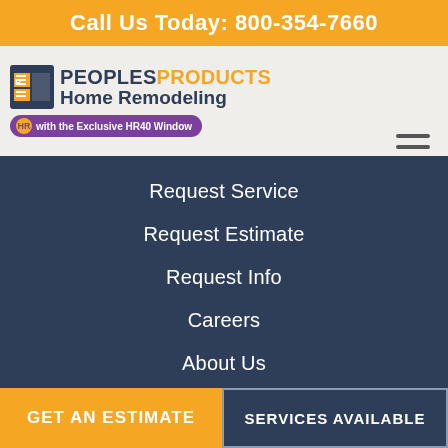Call Us Today: 800-354-7660
[Figure (logo): Peoples Products Home Remodeling logo with HR40 Window badge]
Request Service
Request Estimate
Request Info
Careers
About Us
History
Blog
Contact Us
GET AN ESTIMATE
SERVICES AVAILABLE